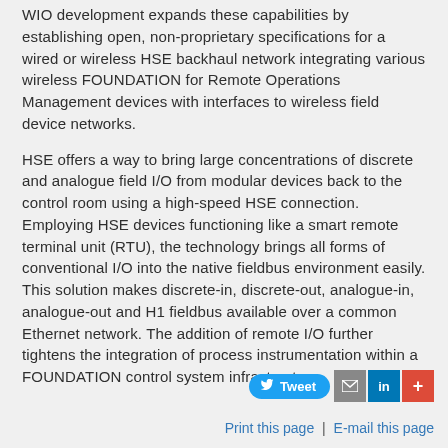WIO development expands these capabilities by establishing open, non-proprietary specifications for a wired or wireless HSE backhaul network integrating various wireless FOUNDATION for Remote Operations Management devices with interfaces to wireless field device networks.
HSE offers a way to bring large concentrations of discrete and analogue field I/O from modular devices back to the control room using a high-speed HSE connection. Employing HSE devices functioning like a smart remote terminal unit (RTU), the technology brings all forms of conventional I/O into the native fieldbus environment easily. This solution makes discrete-in, discrete-out, analogue-in, analogue-out and H1 fieldbus available over a common Ethernet network. The addition of remote I/O further tightens the integration of process instrumentation within a FOUNDATION control system infrastructure.
[Figure (infographic): Social sharing buttons: Tweet (Twitter), email, LinkedIn, and a plus/add button]
Print this page | E-mail this page